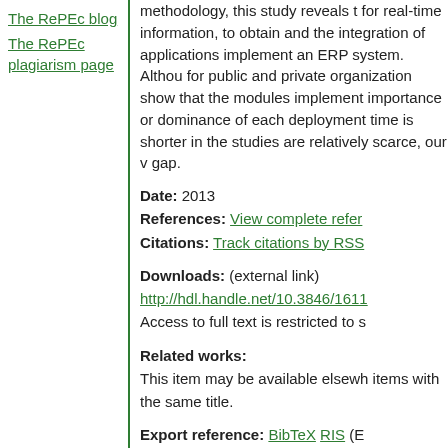The RePEc blog
The RePEc plagiarism page
methodology, this study reveals that for real-time information, to obtain and the integration of applications implement an ERP system. Although for public and private organizations show that the modules implemented importance or dominance of each deployment time is shorter in the studies are relatively scarce, our work bridges this gap.
Date: 2013
References: View complete references
Citations: Track citations by RSS
Downloads: (external link) http://hdl.handle.net/10.3846/1611 Access to full text is restricted to s
Related works: This item may be available elsewhere in EconPapers: search for items with the same title.
Export reference: BibTeX RIS (E HTML/Text
Persistent link: https://EconPapers.repec.org/RePe 519